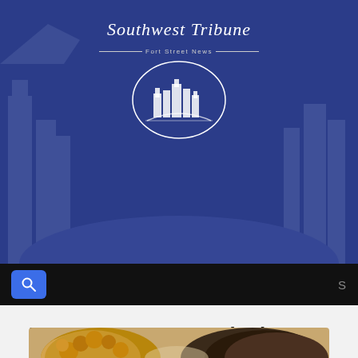Southwest Tribune — Fort Street News
Parent Engagement is the Secret Sauce
Education
6:00 AM   ET September 25, 2017
[Figure (photo): Two children with curly and dark hair seen from behind, likely a parent-child or student engagement scene]